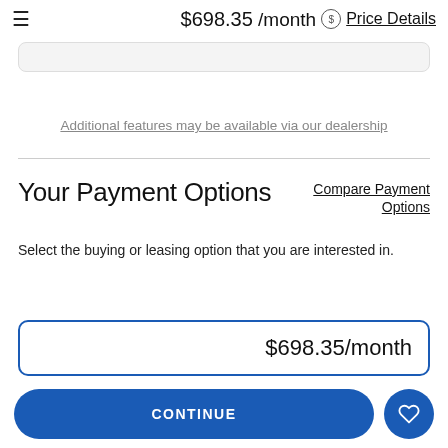≡  $698.35 /month  $ Price Details
Additional features may be available via our dealership
Your Payment Options
Compare Payment Options
Select the buying or leasing option that you are interested in.
$698.35/month
CONTINUE